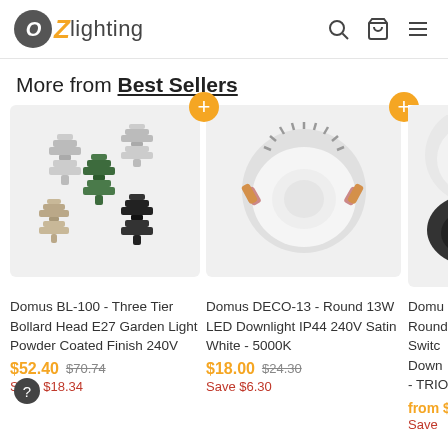OZ lighting
More from Best Sellers
[Figure (photo): Domus BL-100 bollard garden lights in silver, green, beige, and black finishes, multiple pagoda-style tier heads]
Domus BL-100 - Three Tier Bollard Head E27 Garden Light Powder Coated Finish 240V
$52.40  $70.74  Save $18.34
[Figure (photo): Domus DECO-13 round LED downlight with gold clips, white surface, viewed from above]
Domus DECO-13 - Round 13W LED Downlight IP44 240V Satin White - 5000K
$18.00  $24.30  Save $6.30
[Figure (photo): Domus round switchable downlight, partially visible, black and white version]
Domu... Round... Switchable Down... - TRIO...
from $... Save...